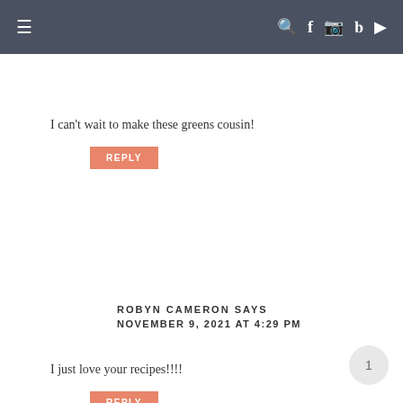≡   🔍 f 📷 p ▶
I can't wait to make these greens cousin!
REPLY
ROBYN CAMERON SAYS
NOVEMBER 9, 2021 AT  4:29 PM
I just love your recipes!!!!
REPLY